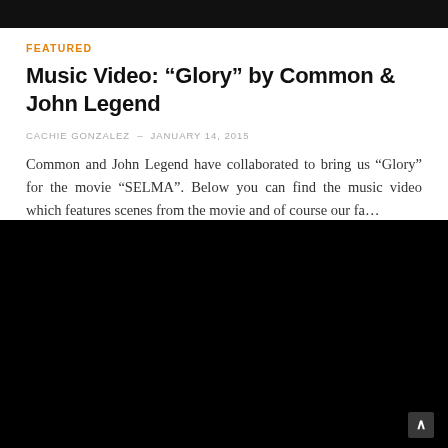FEATURED
Music Video: “Glory” by Common & John Legend
CACHIE GONZALEZ – JANUARY 14, 2015
Common and John Legend have collaborated to bring us “Glory” for the movie “SELMA”. Below you can find the music video which features scenes from the movie and of course our fa…
[Figure (screenshot): Black video player embed, fully black frame with a scroll-to-top button in the bottom right corner]